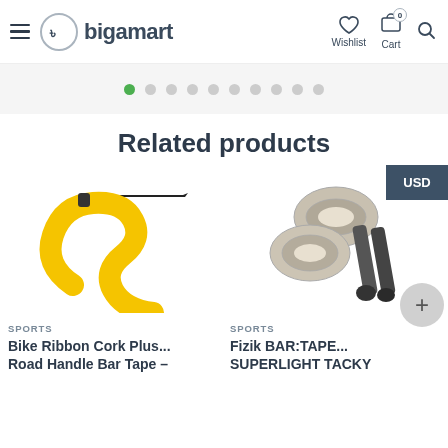bigamart — Wishlist, Cart (0), Search
[Figure (screenshot): Pagination dots carousel indicator with 10 dots, first one filled green]
Related products
[Figure (photo): Yellow and black bike handlebar tape wrapped around a drop handlebar]
SPORTS
Bike Ribbon Cork Plus... Road Handle Bar Tape –
[Figure (photo): Gray/beige Fizik bar tape rolls with black end strips and plug caps]
SPORTS
Fizik BAR:TAPE... SUPERLIGHT TACKY